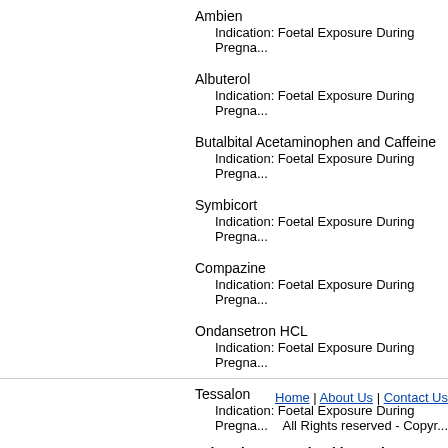Ambien
    Indication: Foetal Exposure During Pregna...
Albuterol
    Indication: Foetal Exposure During Pregna...
Butalbital Acetaminophen and Caffeine
    Indication: Foetal Exposure During Pregna...
Symbicort
    Indication: Foetal Exposure During Pregna...
Compazine
    Indication: Foetal Exposure During Pregna...
Ondansetron HCL
    Indication: Foetal Exposure During Pregna...
Tessalon
    Indication: Foetal Exposure During Pregna...
Other drugs received by patient: Repliva;
Home | About Us | Contact Us
All Rights reserved - Copyr...